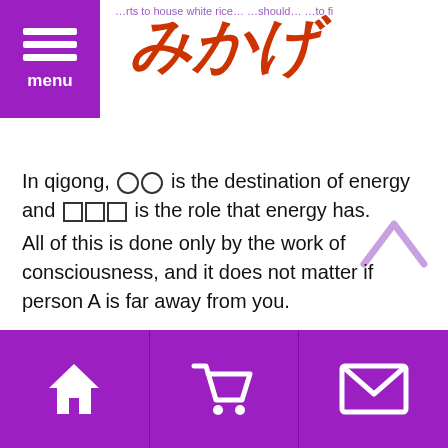みかげ (website header with menu, logo, and search)
In qigong, ○○ is the destination of energy and □□□ is the role that energy has.
All of this is done only by the work of consciousness, and it does not matter if person A is far away from you.
Bottom navigation bar with home, cart, and mail icons